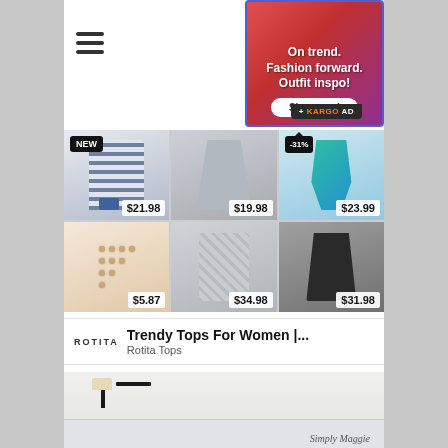[Figure (screenshot): Mobile browser screenshot showing shopping search results and an advertisement]
[Figure (photo): Advertisement banner: On trend. Fashion forward. Outfit inspo! Shop now! with + KARGO AD label]
[Figure (photo): Product grid with 6 fashion items: striped shirt $21.98 (NEW), draped gray top $19.98, teal bikini $23.99 (-31%), layered necklace $5.87, gray patterned top $34.98, black wrap top $31.98]
Trendy Tops For Women |...
Rotita Tops
[Figure (photo): Bedroom interior photo with lamp and bed, signature text 'Simply Maggie' at bottom right]